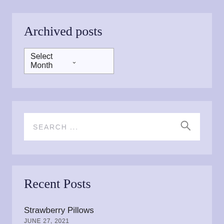Archived posts
Select Month
[Figure (screenshot): Search bar with placeholder text SEARCH... and a magnifying glass icon]
Recent Posts
Strawberry Pillows
JUNE 27, 2021